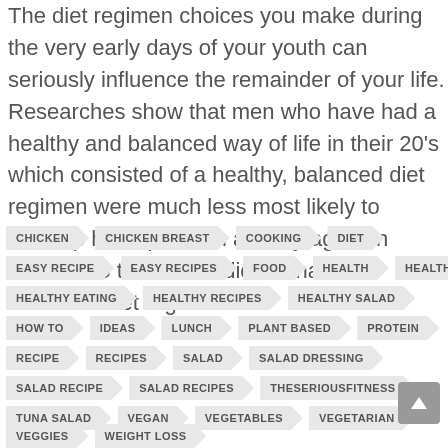The diet regimen choices you make during the very early days of your youth can seriously influence the remainder of your life. Researches show that men who have had a healthy and balanced way of life in their 20's which consisted of a healthy, balanced diet regimen were much less most likely to develop heart problem as they aged, in contrast to those who did not have a balanced diet regimen.
CHICKEN
CHICKEN BREAST
COOKING
DIET
EASY RECIPE
EASY RECIPES
FOOD
HEALTH
HEALTHY
HEALTHY EATING
HEALTHY RECIPES
HEALTHY SALAD
HOW TO
IDEAS
LUNCH
PLANT BASED
PROTEIN
RECIPE
RECIPES
SALAD
SALAD DRESSING
SALAD RECIPE
SALAD RECIPES
THESERIOUSFITNESS
TUNA SALAD
VEGAN
VEGETABLES
VEGETARIAN
VEGGIES
WEIGHT LOSS